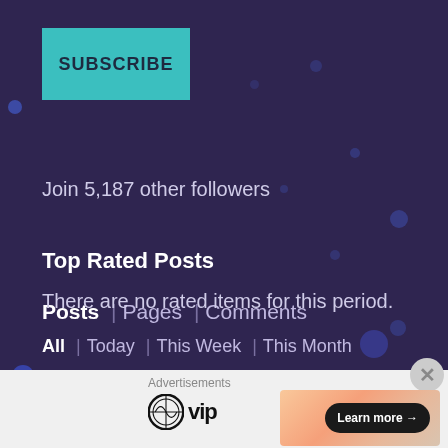[Figure (illustration): Dark purple background with decorative blue dots scattered across]
SUBSCRIBE
Join 5,187 other followers
Top Rated Posts
Posts | Pages | Comments
All | Today | This Week | This Month
There are no rated items for this period.
Advertisements
[Figure (logo): WordPress VIP logo]
[Figure (illustration): Advertisement banner with gradient peach/orange background and Learn more button]